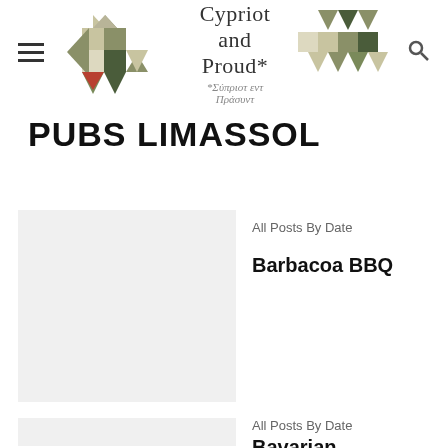[Figure (logo): Cypriot and Proud website header with geometric mosaic logos on left and right, brand name in center, hamburger menu and search icon]
PUBS LIMASSOL
All Posts By Date
[Figure (photo): Gray placeholder image for Barbacoa BBQ post]
Barbacoa BBQ
All Posts By Date
[Figure (photo): Gray placeholder image for Bavarian Delicatessen post]
Bavarian Delicatessen